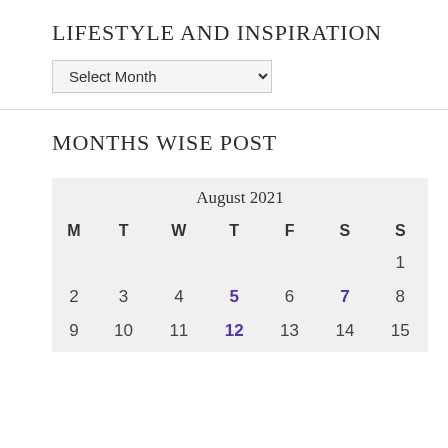LIFESTYLE AND INSPIRATION
[Figure (screenshot): A dropdown select element labeled 'Select Month']
MONTHS WISE POST
| M | T | W | T | F | S | S |
| --- | --- | --- | --- | --- | --- | --- |
|  |  |  |  |  |  | 1 |
| 2 | 3 | 4 | 5 | 6 | 7 | 8 |
| 9 | 10 | 11 | 12 | 13 | 14 | 15 |